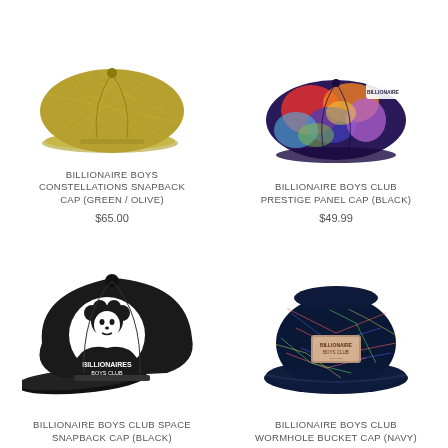[Figure (photo): Billionaire Boys Constellations Snapback Cap in green/olive color with geometric pattern]
BILLIONAIRE BOYS CONSTELLATIONS SNAPBACK CAP (GREEN / OLIVE)
$65.00
[Figure (photo): Billionaire Boys Club Prestige Panel Cap in black with multicolor abstract pattern]
BILLIONAIRE BOYS CLUB PRESTIGE PANEL CAP (BLACK)
$49.99
[Figure (photo): Billionaire Boys Club Space Snapback Cap in black with white logo]
BILLIONAIRE BOYS CLUB SPACE SNAPBACK CAP (BLACK)
[Figure (photo): Billionaire Boys Club Wormhole Bucket Cap in navy with colorful constellation pattern]
BILLIONAIRE BOYS CLUB WORMHOLE BUCKET CAP (NAVY)